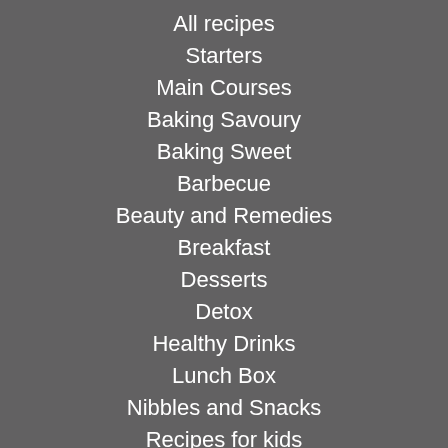All recipes
Starters
Main Courses
Baking Savoury
Baking Sweet
Barbecue
Beauty and Remedies
Breakfast
Desserts
Detox
Healthy Drinks
Lunch Box
Nibbles and Snacks
Recipes for kids
Side dishes
Christmas Recipes